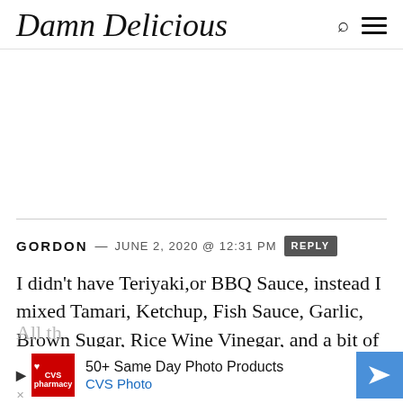Damn Delicious
GORDON — JUNE 2, 2020 @ 12:31 PM REPLY
I didn't have Teriyaki,or BBQ Sauce, instead I mixed Tamari, Ketchup, Fish Sauce, Garlic, Brown Sugar, Rice Wine Vinegar, and a bit of Sweet Chili Thai Sauce…
[Figure (other): CVS Photo advertisement banner: 50+ Same Day Photo Products, CVS Photo]
Worke…
All th…